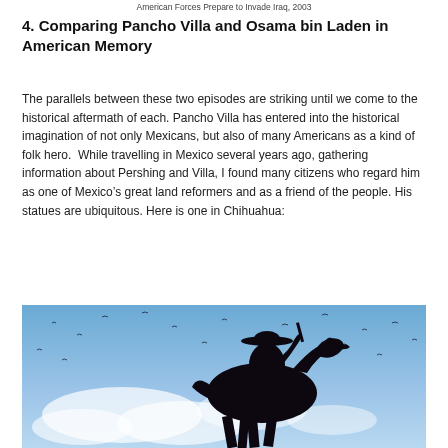American Forces Prepare to Invade Iraq, 2003
4. Comparing Pancho Villa and Osama bin Laden in American Memory
The parallels between these two episodes are striking until we come to the historical aftermath of each. Pancho Villa has entered into the historical imagination of not only Mexicans, but also of many Americans as a kind of folk hero.  While travelling in Mexico several years ago, gathering information about Pershing and Villa, I found many citizens who regard him as one of Mexico’s great land reformers and as a friend of the people. His statues are ubiquitous. Here is one in Chihuahua:
[Figure (photo): A silhouette of a Pancho Villa equestrian statue against a blue sky with birds, located in Chihuahua, Mexico.]